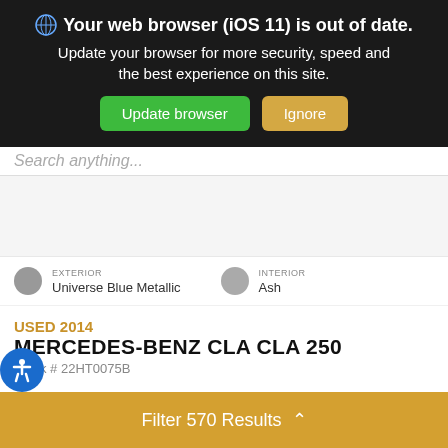Your web browser (iOS 11) is out of date. Update your browser for more security, speed and the best experience on this site.
EXTERIOR
Universe Blue Metallic
INTERIOR
Ash
USED 2014
MERCEDES-BENZ CLA CLA 250
Stock # 22HT0075B
Mileage: 97,090
Drivetrain: FWD
Engine: 2.0L I4 Turbocharged
Filter 570 Results